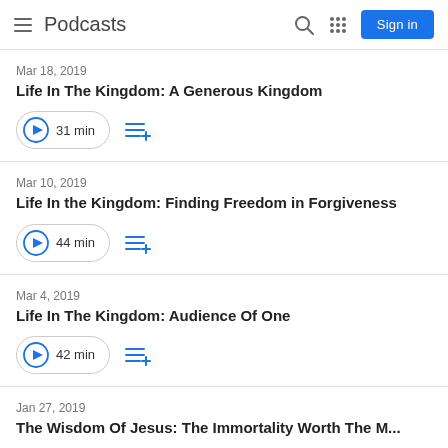Podcasts
Mar 18, 2019
Life In The Kingdom: A Generous Kingdom
31 min
Mar 10, 2019
Life In the Kingdom: Finding Freedom in Forgiveness
44 min
Mar 4, 2019
Life In The Kingdom: Audience Of One
42 min
Jan 27, 2019
The Wisdom Of Jesus: The Immortality Worth The M...